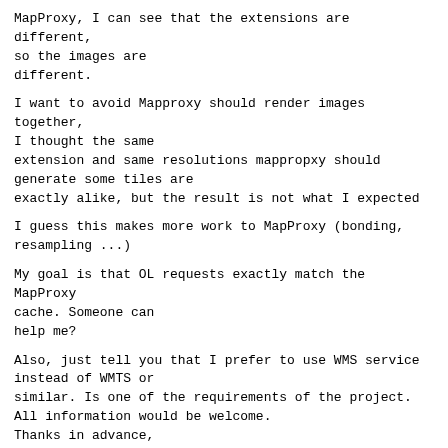MapProxy, I can see that the extensions are different,
so the images are
different.
I want to avoid Mapproxy should render images together,
I thought the same
extension and same resolutions mappropxy should
generate some tiles are
exactly alike, but the result is not what I expected
I guess this makes more work to MapProxy (bonding,
resampling ...)
My goal is that OL requests exactly match the MapProxy
cache. Someone can
help me?
Also, just tell you that I prefer to use WMS service
instead of WMTS or
similar. Is one of the requirements of the project.
All information would be welcome.
Thanks in advance,
javier
-------------- next part --------------
An HTML attachment was scrubbed...
URL:
<http://lists.osgeo.org/pipermail/mapproxy/attachments/20...>